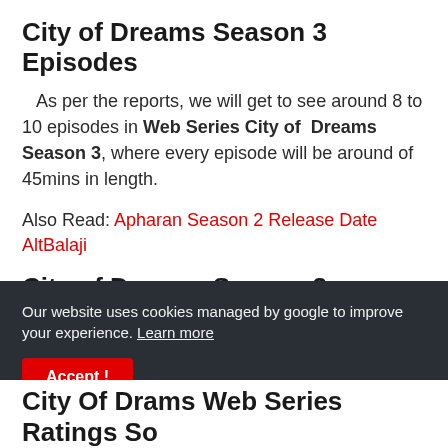City of Dreams Season 3 Episodes
As per the reports, we will get to see around 8 to 10 episodes in Web Series City of Dreams Season 3, where every episode will be around of 45mins in length.
Also Read: Apharan Season 2 Release Date AltBalaji
City of Dreams Season 3 Release Date
There is no official update for City of Dreams
Our website uses cookies managed by google to improve your experience. Learn more
City Of Drams Web Series Ratings So